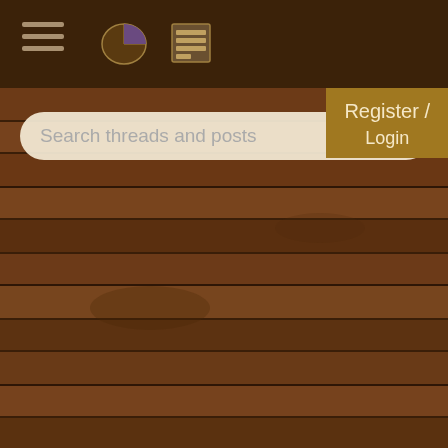[Figure (screenshot): Mobile forum app screenshot showing navigation bar with hamburger menu, pie chart icon, list icon, wood-textured left panel with search bar, and right panel listing forum threads: 'Quote, Img, URL hot... 7 replies', 'Roofing Alternatives 8 replies', 'Food storage resear... 25 replies', 'I have some questio... 1 reply', '[IBC] Please help me... 21 replies', with Register/Login overlay button]